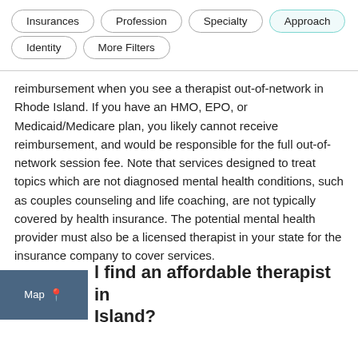Insurances
Profession
Specialty
Approach
Identity
More Filters
reimbursement when you see a therapist out-of-network in Rhode Island. If you have an HMO, EPO, or Medicaid/Medicare plan, you likely cannot receive reimbursement, and would be responsible for the full out-of-network session fee. Note that services designed to treat topics which are not diagnosed mental health conditions, such as couples counseling and life coaching, are not typically covered by health insurance. The potential mental health provider must also be a licensed therapist in your state for the insurance company to cover services.
How do I find an affordable therapist in Rhode Island?